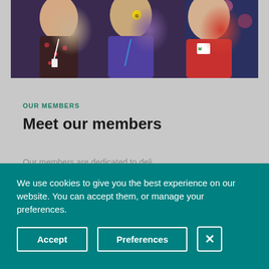[Figure (photo): Group photo of three people posing together, one in a floral top with lanyard, one in purple top, one in red fleece jacket]
OUR MEMBERS
Meet our members
We use cookies to give you the best experience on our website. You can accept them, or manage your preferences.